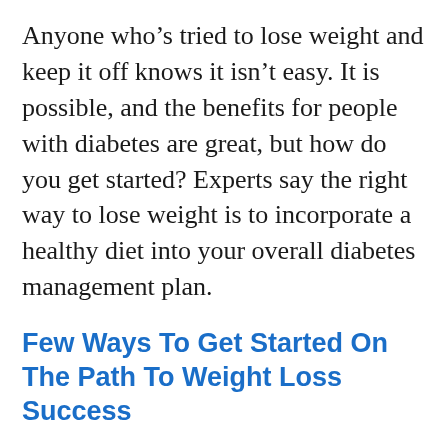Anyone who’s tried to lose weight and keep it off knows it isn’t easy. It is possible, and the benefits for people with diabetes are great, but how do you get started? Experts say the right way to lose weight is to incorporate a healthy diet into your overall diabetes management plan.
Few Ways To Get Started On The Path To Weight Loss Success
Set Small and Realistic Goals
Losing the weight is one thing; keeping it